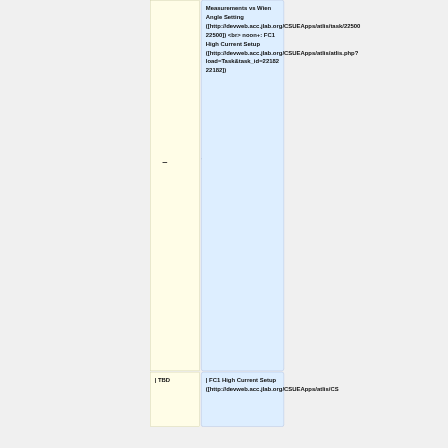|  | Date/Time | Description |
| --- | --- | --- |
|  | –  + | Measurements vs Wien Angle Setting ([http://devweb.acc.jlab.org/CSUEApps/atlis/task/22500 22500]) <br> noon+: FC1 High Current Setup ([http://devweb.acc.jlab.org/CSUEApps/atlis/atlis.php?load=Task&task_id=22182 22182]) |
|  | | TBD | | FC1 High Current Setup ([http://devweb.acc.jlab.org/CSUEApps/atlis/atlis.php?load=Task&task_id=22182 22182]) |